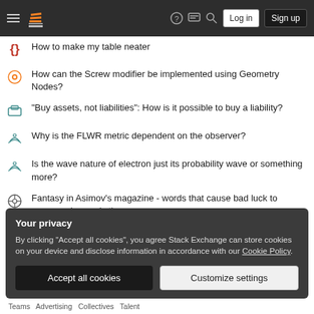Stack Exchange navigation header with Log in and Sign up buttons
How to make my table neater
How can the Screw modifier be implemented using Geometry Nodes?
"Buy assets, not liabilities": How is it possible to buy a liability?
Why is the FLWR metric dependent on the observer?
Is the wave nature of electron just its probability wave or something more?
Fantasy in Asimov's magazine - words that cause bad luck to anyone who reads them
more hot questions
Your privacy
By clicking "Accept all cookies", you agree Stack Exchange can store cookies on your device and disclose information in accordance with our Cookie Policy.
Accept all cookies    Customize settings
Teams    Advertising    Collectives    Talent